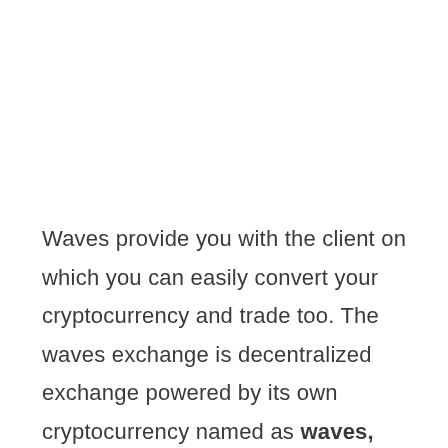Waves provide you with the client on which you can easily convert your cryptocurrency and trade too. The waves exchange is decentralized exchange powered by its own cryptocurrency named as waves, including listed of many other major cryptocurrencies too.